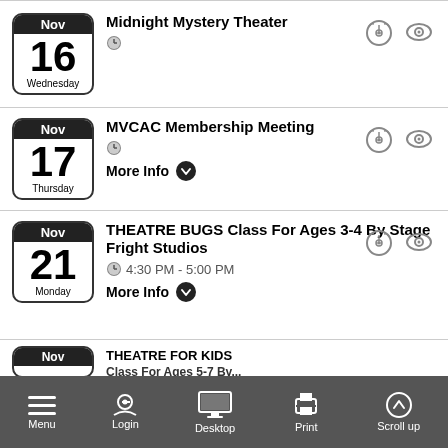Nov 16 Wednesday – Midnight Mystery Theater
Nov 17 Thursday – MVCAC Membership Meeting – More Info
Nov 21 Monday – THEATRE BUGS Class For Ages 3-4 By Stage Fright Studios – 4:30 PM - 5:00 PM – More Info
Nov – THEATRE FOR KIDS Class For Ages 5-7 By...
Menu  Login  Desktop  Print  Scroll up